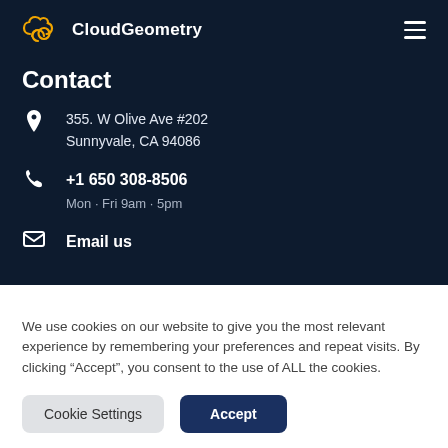CloudGeometry
Contact
355. W Olive Ave #202
Sunnyvale, CA 94086
+1 650 308-8506
Mon · Fri 9am · 5pm
Email us
We use cookies on our website to give you the most relevant experience by remembering your preferences and repeat visits. By clicking “Accept”, you consent to the use of ALL the cookies.